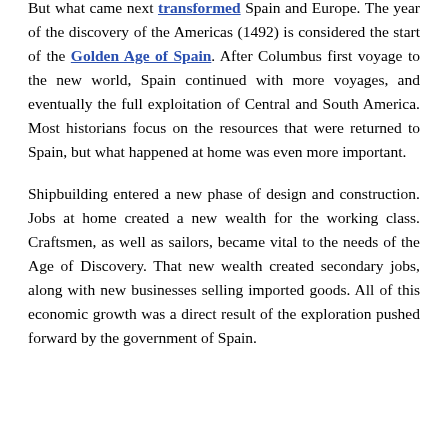But what came next transformed Spain and Europe. The year of the discovery of the Americas (1492) is considered the start of the Golden Age of Spain. After Columbus first voyage to the new world, Spain continued with more voyages, and eventually the full exploitation of Central and South America. Most historians focus on the resources that were returned to Spain, but what happened at home was even more important.
Shipbuilding entered a new phase of design and construction. Jobs at home created a new wealth for the working class. Craftsmen, as well as sailors, became vital to the needs of the Age of Discovery. That new wealth created secondary jobs, along with new businesses selling imported goods. All of this economic growth was a direct result of the exploration pushed forward by the government of Spain.